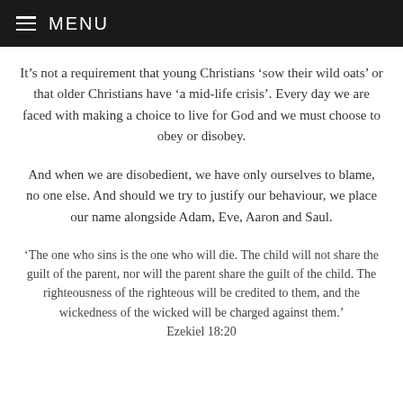MENU
It’s not a requirement that young Christians ‘sow their wild oats’ or that older Christians have ‘a mid-life crisis’. Every day we are faced with making a choice to live for God and we must choose to obey or disobey.
And when we are disobedient, we have only ourselves to blame, no one else. And should we try to justify our behaviour, we place our name alongside Adam, Eve, Aaron and Saul.
‘The one who sins is the one who will die. The child will not share the guilt of the parent, nor will the parent share the guilt of the child. The righteousness of the righteous will be credited to them, and the wickedness of the wicked will be charged against them.’ Ezekiel 18:20